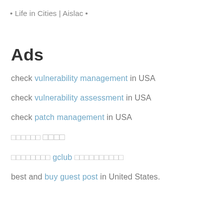• Life in Cities | Aislac •
Ads
check vulnerability management in USA
check vulnerability assessment in USA
check patch management in USA
□□□□□□ □□□□
□□□□□□□□ gclub □□□□□□□□□□
best and buy guest post in United States.